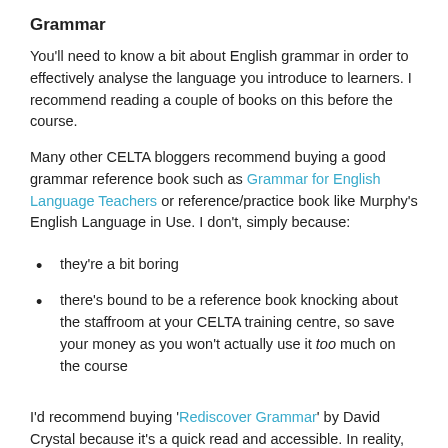Grammar
You'll need to know a bit about English grammar in order to effectively analyse the language you introduce to learners. I recommend reading a couple of books on this before the course.
Many other CELTA bloggers recommend buying a good grammar reference book such as Grammar for English Language Teachers or reference/practice book like Murphy's English Language in Use. I don't, simply because:
they're a bit boring
there's bound to be a reference book knocking about the staffroom at your CELTA training centre, so save your money as you won't actually use it too much on the course
I'd recommend buying 'Rediscover Grammar' by David Crystal because it's a quick read and accessible. In reality, you'll only teach a little bit of grammar on the CELTA course so don't get too obsessed with it.